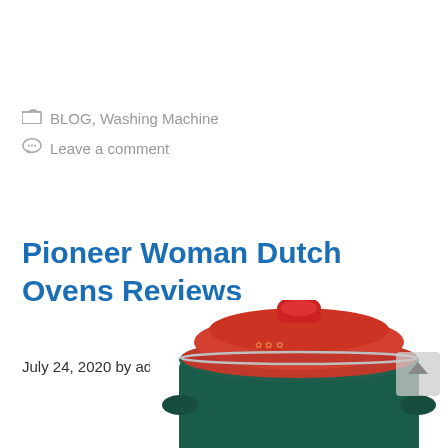BLOG, Washing Machine
Leave a comment
Pioneer Woman Dutch Ovens Reviews
July 24, 2020 by admin
[Figure (photo): A Pioneer Woman Dutch oven with a red lid and teal/dark green body, partially visible at the bottom of the page.]